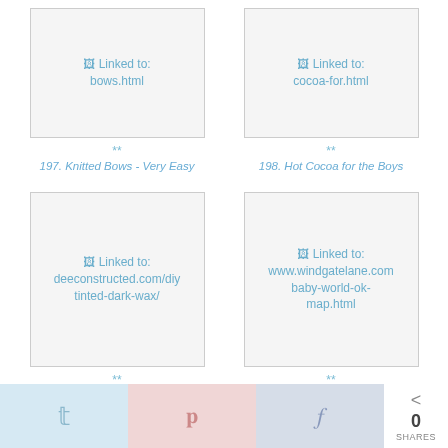[Figure (screenshot): Linked to: bows.html - card image placeholder]
** 
197. Knitted Bows - Very Easy
[Figure (screenshot): Linked to: cocoa-for.html - card image placeholder]
** 
198. Hot Cocoa for the Boys
[Figure (screenshot): Linked to: deeconstructed.com/diy tinted-dark-wax/ - card image placeholder]
** 
199. DIY Dark Wax
[Figure (screenshot): Linked to: www.windgatelane.com baby-world-ok- map.html - card image placeholder]
** 
200. Old Map Room Inspiration